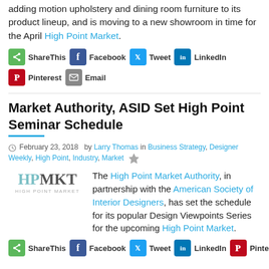adding motion upholstery and dining room furniture to its product lineup, and is moving to a new showroom in time for the April High Point Market.
[Figure (infographic): Social share buttons: ShareThis, Facebook, Tweet, LinkedIn, Pinterest, Email]
Market Authority, ASID Set High Point Seminar Schedule
February 23, 2018  by Larry Thomas in Business Strategy, Designer Weekly, High Point, Industry, Market
[Figure (logo): HPMKT High Point Market logo]
The High Point Market Authority, in partnership with the American Society of Interior Designers, has set the schedule for its popular Design Viewpoints Series for the upcoming High Point Market.
[Figure (infographic): Social share buttons: ShareThis, Facebook, Tweet, LinkedIn, Pinterest]